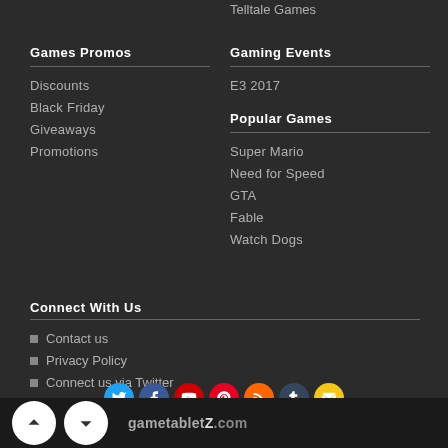Telltale Games
Games Promos
Discounts
Black Friday
Giveaways
Promotions
Gaming Events
E3 2017
Popular Games
Super Mario
Need for Speed
GTA
Fable
Watch Dogs
Connect With Us
Contact us
Privacy Policy
Connect us via Twitter
[Figure (infographic): Social media icons row: Twitter (blue), Facebook (blue), YouTube (red), Pinterest (red), RSS (orange), Tumblr (dark), Email (yellow)]
[Figure (infographic): Bottom bar with up/down navigation circle buttons and gametabletz.com logo]